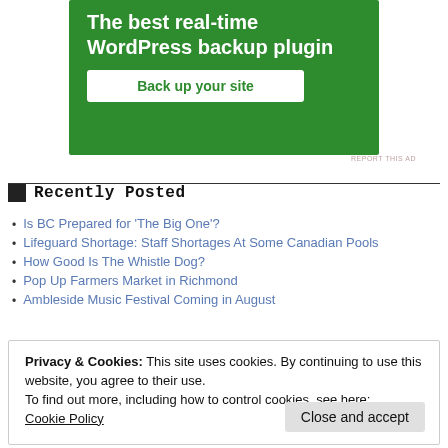[Figure (screenshot): Green advertisement banner for a WordPress backup plugin with white bold text 'The best real-time WordPress backup plugin' and a white 'Back up your site' button]
REPORT THIS AD
Recently Posted
Is BC Prepared for ‘The Big One’?
Lifeguard Shortage: Staff Shortages At Some Canadian Pools
How Good Is The Whistle Dog?
Pop Up Farmers Market in Richmond
Ambleside Music Festival Coming in August
Privacy & Cookies: This site uses cookies. By continuing to use this website, you agree to their use.
To find out more, including how to control cookies, see here:
Cookie Policy
Close and accept